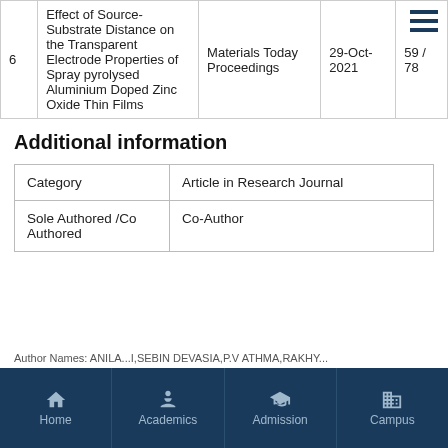| # | Title | Journal | Date | Pages |
| --- | --- | --- | --- | --- |
| 6 | Effect of Source-Substrate Distance on the Transparent Electrode Properties of Spray pyrolysed Aluminium Doped Zinc Oxide Thin Films | Materials Today Proceedings | 29-Oct-2021 | 59 / 78 |
Additional information
| Category |  |
| --- | --- |
| Category | Article in Research Journal |
| Sole Authored /Co Authored | Co-Author |
| Author Names | ANILA...I,SEBIN DEVASIA,P.V ATHMA,RAKHY... |
Home | Academics | Admission | Campus